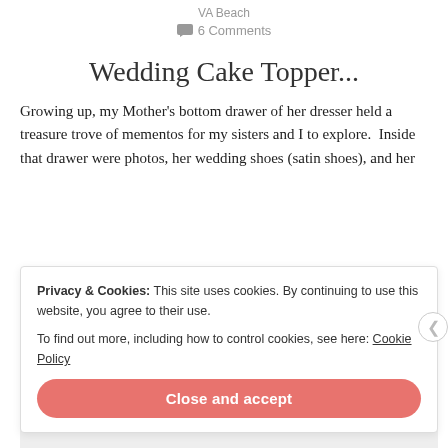VA Beach
6 Comments
Wedding Cake Topper...
Growing up, my Mother's bottom drawer of her dresser held a treasure trove of mementos for my sisters and I to explore.  Inside that drawer were photos, her wedding shoes (satin shoes), and her
Privacy & Cookies: This site uses cookies. By continuing to use this website, you agree to their use.
To find out more, including how to control cookies, see here: Cookie Policy
Close and accept